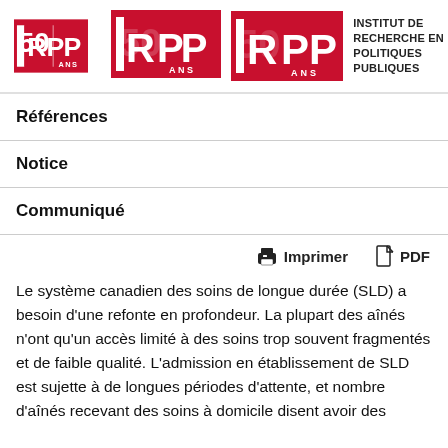[Figure (logo): IRPP 50 ANS logo with red and white design, followed by 'INSTITUT DE RECHERCHE EN POLITIQUES PUBLIQUES' text and hamburger menu icon]
Références
Notice
Communiqué
Imprimer   PDF
Le système canadien des soins de longue durée (SLD) a besoin d'une refonte en profondeur. La plupart des aînés n'ont qu'un accès limité à des soins trop souvent fragmentés et de faible qualité. L'admission en établissement de SLD est sujette à de longues périodes d'attente, et nombre d'aînés recevant des soins à domicile disent avoir des